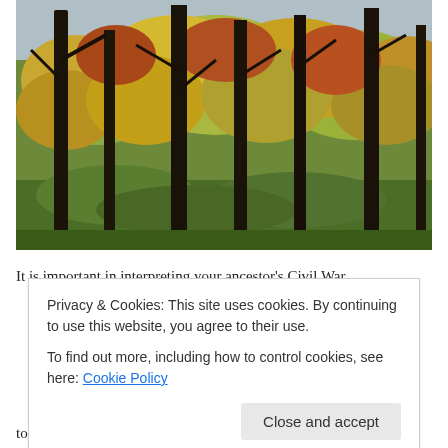[Figure (photo): Autumn forest scene with tall dark tree trunks and yellow-orange-green foliage filling the canopy against a pale sky]
It is important in interpreting your ancestor's Civil War
Privacy & Cookies: This site uses cookies. By continuing to use this website, you agree to their use.
To find out more, including how to control cookies, see here: Cookie Policy

Close and accept
to, but there is just no other way around it.  It is unlikely